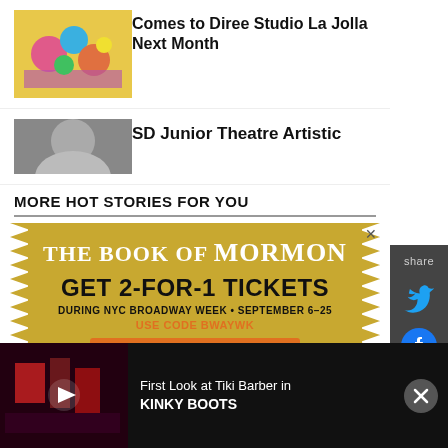[Figure (photo): Colorful artwork thumbnail for article about Diree Studio La Jolla]
Comes to Diree Studio La Jolla Next Month
[Figure (photo): Portrait photo thumbnail for SD Junior Theatre article]
SD Junior Theatre Artistic
MORE HOT STORIES FOR YOU
[Figure (screenshot): Advertisement for The Book of Mormon - Get 2-For-1 Tickets during NYC Broadway Week September 6-25, use code BWAYWK, Get Tickets]
[Figure (screenshot): Sidebar with share button, Twitter icon, and Facebook icon]
[Figure (photo): Video bar at bottom - First Look at Tiki Barber in KINKY BOOTS with play button overlay on dark stage image]